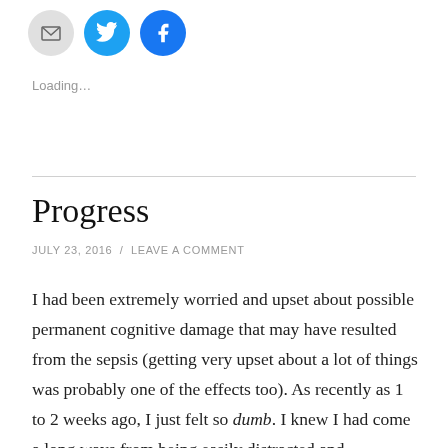[Figure (other): Three social sharing icon buttons: email (grey circle), Twitter (blue circle with bird icon), Facebook (blue circle with f icon)]
Loading...
Progress
JULY 23, 2016  /  LEAVE A COMMENT
I had been extremely worried and upset about possible permanent cognitive damage that may have resulted from the sepsis (getting very upset about a lot of things was probably one of the effects too). As recently as 1 to 2 weeks ago, I just felt so dumb. I knew I had come a long ways from being easily distracted and